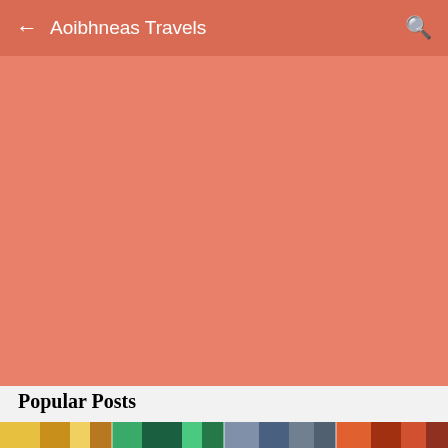← Aoibhneas Travels 🔍
[Figure (screenshot): Large salmon/coral colored background area filling most of the page]
Popular Posts
[Figure (photo): Colorful strip of thumbnail images at the bottom of the page showing partial blog post images]